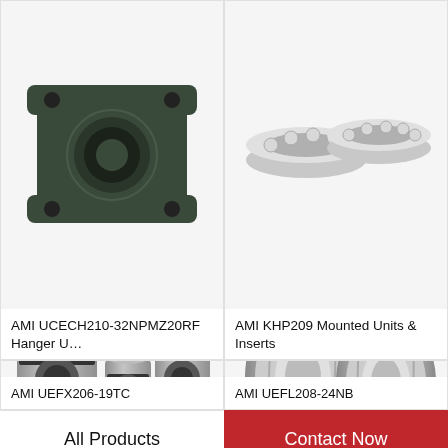[Figure (photo): AMI UCECH210-32NPMZ20RF hanger unit bearing - dark green/grey cast iron housing with four bolt holes, square flange plate]
AMI UCECH210-32NPMZ20RF Hanger U…
[Figure (photo): AMI KHP209 Mounted Units & Inserts - ball thrust bearings shown from front, metallic silver finish]
AMI KHP209 Mounted Units & Inserts
[Figure (photo): AMI UEFX206-19TC linear motion ball bearings - multiple cylindrical sleeve bearings arranged in a group, metallic silver finish with black grooves]
AMI UEFX206-19TC
[Figure (photo): AMI UEFL208-24NB tapered roller bearings - two tapered roller bearing assemblies, metallic silver, with WhatsApp Online badge overlay]
AMI UEFL208-24NB
All Products
Contact Now